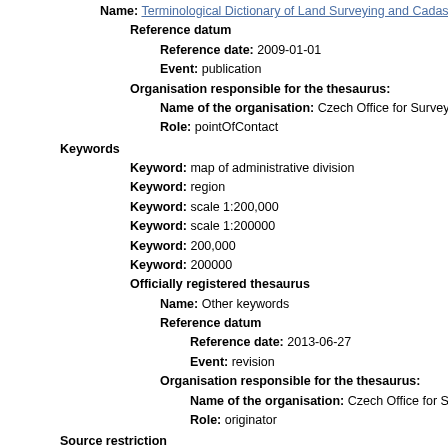Name: Terminological Dictionary of Land Surveying and Cadastre of...
Reference datum
Reference date: 2009-01-01
Event: publication
Organisation responsible for the thesaurus:
Name of the organisation: Czech Office for Surveying, Mapping...
Role: pointOfContact
Keywords
Keyword: map of administrative division
Keyword: region
Keyword: scale 1:200,000
Keyword: scale 1:200000
Keyword: 200,000
Keyword: 200000
Officially registered thesaurus
Name: Other keywords
Reference datum
Reference date: 2013-06-27
Event: revision
Organisation responsible for the thesaurus:
Name of the organisation: Czech Office for Surveying, Mapping...
Role: originator
Source restriction
Access and use terms: Terms of trade
Access and use terms: Charging according to Pricelist of products and s...
Data registered in the National Open Data Catalogue: No